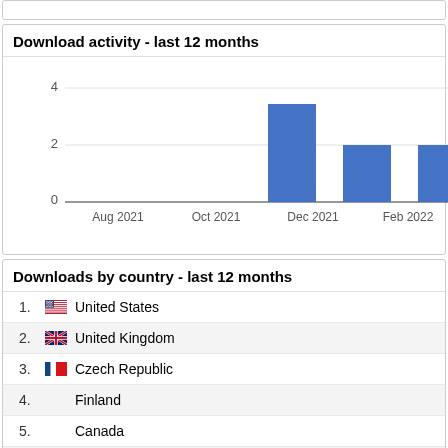[Figure (bar-chart): Download activity - last 12 months]
Downloads by country - last 12 months
1. United States
2. United Kingdom
3. Czech Republic
4. Finland
5. Canada
6. China